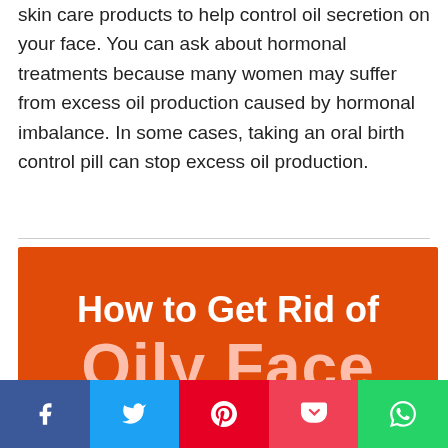skin care products to help control oil secretion on your face. You can ask about hormonal treatments because many women may suffer from excess oil production caused by hormonal imbalance. In some cases, taking an oral birth control pill can stop excess oil production.
[Figure (infographic): Orange background infographic with white bold text 'How to Get Rid of' and large pink/light text 'Oily Face']
[Figure (infographic): Social media share bar with Facebook (blue), Twitter (light blue), Pinterest (red), Pocket (pink-red), and WhatsApp (green) buttons]